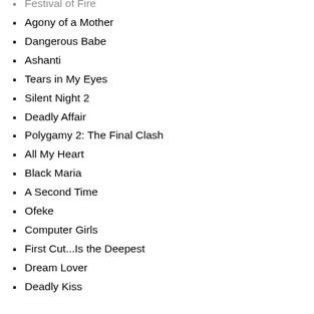Festival of Fire
Agony of a Mother
Dangerous Babe
Ashanti
Tears in My Eyes
Silent Night 2
Deadly Affair
Polygamy 2: The Final Clash
All My Heart
Black Maria
A Second Time
Ofeke
Computer Girls
First Cut...Is the Deepest
Dream Lover
Deadly Kiss